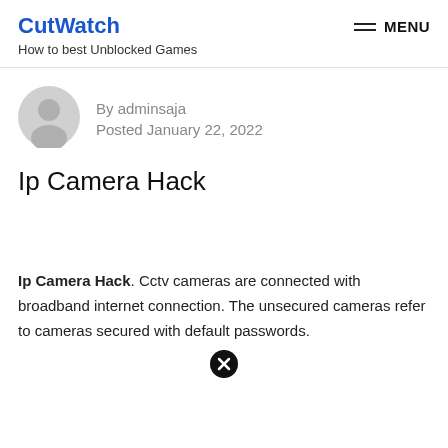CutWatch — How to best Unblocked Games — MENU
[Figure (illustration): Gray circular avatar/silhouette icon representing a user profile]
By adminsaja
Posted January 22, 2022
Ip Camera Hack
Ip Camera Hack. Cctv cameras are connected with broadband internet connection. The unsecured cameras refer to cameras secured with default passwords.
[Figure (illustration): Close/cancel button icon — black circle with X]